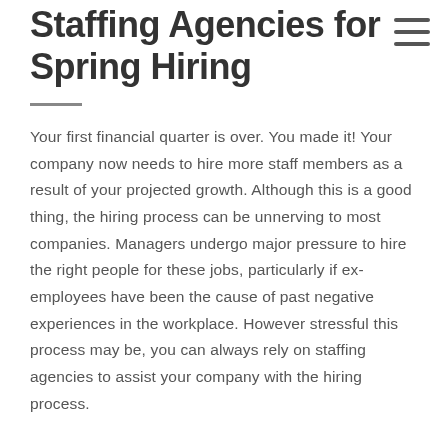Staffing Agencies for Spring Hiring
Your first financial quarter is over. You made it! Your company now needs to hire more staff members as a result of your projected growth. Although this is a good thing, the hiring process can be unnerving to most companies. Managers undergo major pressure to hire the right people for these jobs, particularly if ex-employees have been the cause of past negative experiences in the workplace. However stressful this process may be, you can always rely on staffing agencies to assist your company with the hiring process.